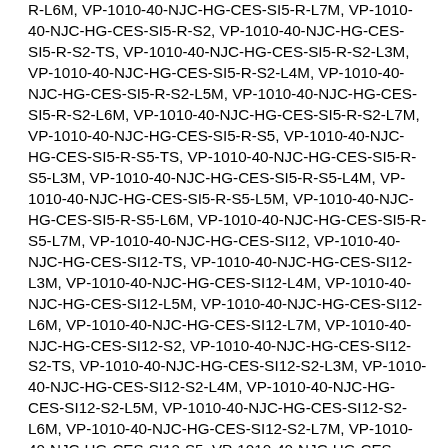R-L6M, VP-1010-40-NJC-HG-CES-SI5-R-L7M, VP-1010-40-NJC-HG-CES-SI5-R-S2, VP-1010-40-NJC-HG-CES-SI5-R-S2-TS, VP-1010-40-NJC-HG-CES-SI5-R-S2-L3M, VP-1010-40-NJC-HG-CES-SI5-R-S2-L4M, VP-1010-40-NJC-HG-CES-SI5-R-S2-L5M, VP-1010-40-NJC-HG-CES-SI5-R-S2-L6M, VP-1010-40-NJC-HG-CES-SI5-R-S2-L7M, VP-1010-40-NJC-HG-CES-SI5-R-S5, VP-1010-40-NJC-HG-CES-SI5-R-S5-TS, VP-1010-40-NJC-HG-CES-SI5-R-S5-L3M, VP-1010-40-NJC-HG-CES-SI5-R-S5-L4M, VP-1010-40-NJC-HG-CES-SI5-R-S5-L5M, VP-1010-40-NJC-HG-CES-SI5-R-S5-L6M, VP-1010-40-NJC-HG-CES-SI5-R-S5-L7M, VP-1010-40-NJC-HG-CES-SI12, VP-1010-40-NJC-HG-CES-SI12-TS, VP-1010-40-NJC-HG-CES-SI12-L3M, VP-1010-40-NJC-HG-CES-SI12-L4M, VP-1010-40-NJC-HG-CES-SI12-L5M, VP-1010-40-NJC-HG-CES-SI12-L6M, VP-1010-40-NJC-HG-CES-SI12-L7M, VP-1010-40-NJC-HG-CES-SI12-S2, VP-1010-40-NJC-HG-CES-SI12-S2-TS, VP-1010-40-NJC-HG-CES-SI12-S2-L3M, VP-1010-40-NJC-HG-CES-SI12-S2-L4M, VP-1010-40-NJC-HG-CES-SI12-S2-L5M, VP-1010-40-NJC-HG-CES-SI12-S2-L6M, VP-1010-40-NJC-HG-CES-SI12-S2-L7M, VP-1010-40-NJC-HG-CES-SI12-S5, VP-1010-40-NJC-HG-CES-SI12-S5-TS, VP-1010-40-NJC-HG-CES-SI12-S5-L3M, VP-1010-40-NJC-HG-CES-SI12-S5-L4M, VP-1010-40-NJC-HG-CES-SI12-S5-L5M, VP-1010-40-NJC-HG-CES-SI12-S5-L6M, VP-1010-40-NJC-HG-CES-SI12-S5-L7M, VP-1010-40-NJC-HG-CES-SI12-